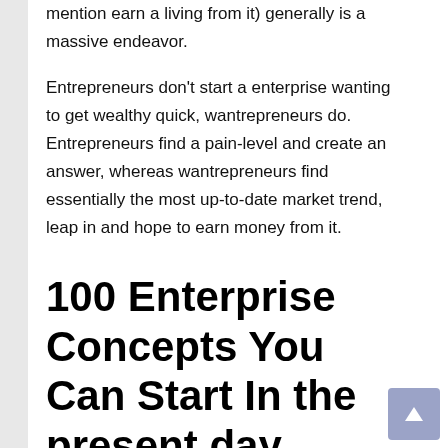mention earn a living from it) generally is a massive endeavor.
Entrepreneurs don't start a enterprise wanting to get wealthy quick, wantrepreneurs do. Entrepreneurs find a pain-level and create an answer, whereas wantrepreneurs find essentially the most up-to-date market trend, leap in and hope to earn money from it.
100 Enterprise Concepts You Can Start In the present day